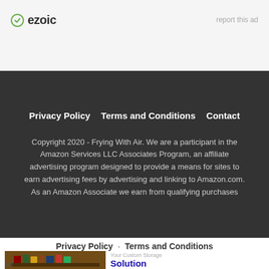[Figure (logo): Ezoic logo with green circular icon and bold 'ezoic' text]
report this ad
Privacy Policy   Terms and Conditions   Contact
Copyright 2020 - Frying With Air. We are a participant in the Amazon Services LLC Associates Program, an affiliate advertising program designed to provide a means for sites to earn advertising fees by advertising and linking to Amazon.com. As an Amazon Associate we earn from qualifying purchases
Privacy Policy · Terms and Conditions
[Figure (photo): Kitchen spice rack/shelf organizer with various bottles and cans on wooden shelves]
Your Custom Storage Solution
Ad